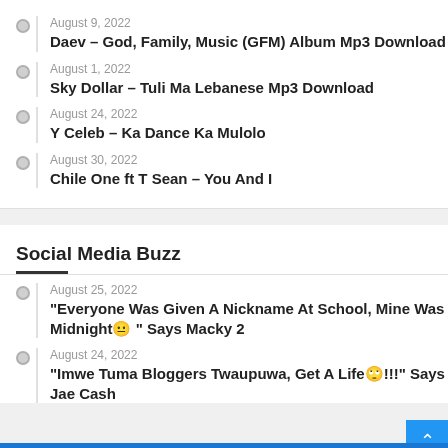August 9, 2022
Daev – God, Family, Music (GFM) Album Mp3 Download
August 1, 2022
Sky Dollar – Tuli Ma Lebanese Mp3 Download
August 24, 2022
Y Celeb – Ka Dance Ka Mulolo
August 30, 2022
Chile One ft T Sean – You And I
Social Media Buzz
August 25, 2022
“Everyone Was Given A Nickname At School, Mine Was Midnight😐 ” Says Macky 2
August 24, 2022
“Imwe Tuma Bloggers Twaupuwa, Get A Life🙄!!!” Says Jae Cash